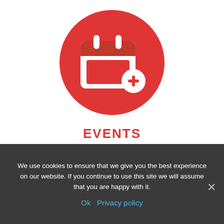[Figure (illustration): Red circle icon containing a white calendar with a plus sign badge in the bottom-right corner]
EVENTS
We hold regular events for groups to come
We use cookies to ensure that we give you the best experience on our website. If you continue to use this site we will assume that you are happy with it.
Ok  Privacy policy